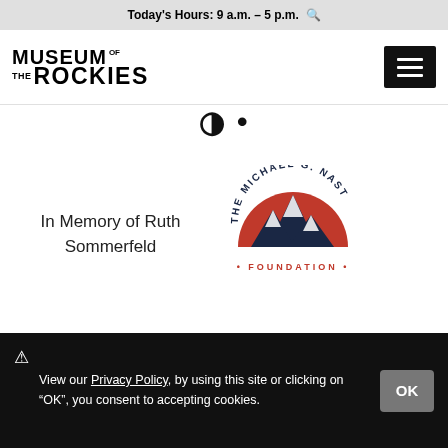Today's Hours: 9 a.m. – 5 p.m.
[Figure (logo): Museum of the Rockies logo in black text, and hamburger menu button in black]
[Figure (logo): Partial large bold text visible, cropped]
In Memory of Ruth Sommerfeld
[Figure (logo): The Michael G. Nast Foundation circular logo with mountain illustration]
⚠ View our Privacy Policy, by using this site or clicking on "OK", you consent to accepting cookies.